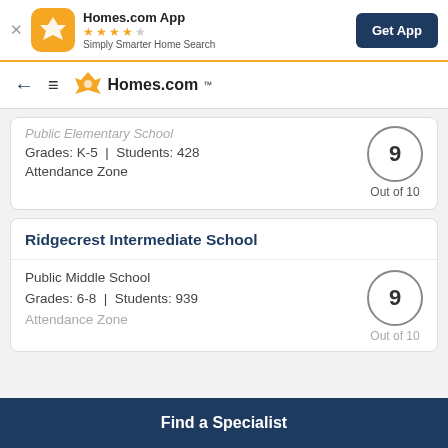[Figure (screenshot): App banner with Homes.com App icon, star rating, tagline, and Get App button]
[Figure (logo): Homes.com navigation bar with back arrow, hamburger menu, and Homes.com logo]
Public Elementary School
Grades: K-5 | Students: 428
Attendance Zone
9 Out of 10
Ridgecrest Intermediate School
Public Middle School
Grades: 6-8 | Students: 939
Attendance Zone
9 Out of 10
Find a Specialist